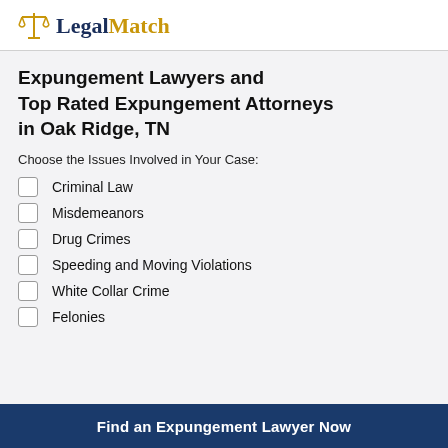LegalMatch
Expungement Lawyers and Top Rated Expungement Attorneys in Oak Ridge, TN
Choose the Issues Involved in Your Case:
Criminal Law
Misdemeanors
Drug Crimes
Speeding and Moving Violations
White Collar Crime
Felonies
Find an Expungement Lawyer Now